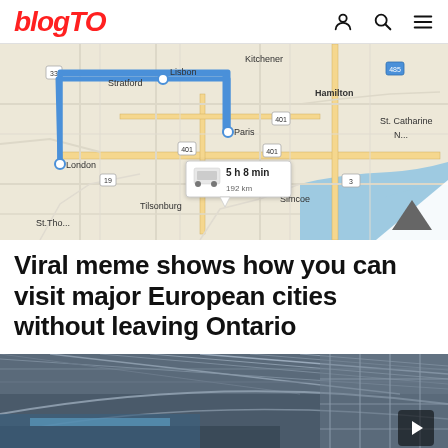blogTO
[Figure (map): Google Maps screenshot showing a driving route between London, Lisbon, and Paris, Ontario, Canada, with a travel time callout of 5 h 8 min, 192 km. Also shows Hamilton, Kitchener, Stratford, Tilsonburg, Simcoe, St. Catharines, St. Thomas.]
Viral meme shows how you can visit major European cities without leaving Ontario
[Figure (photo): Interior photo of a transit station or airport with a glass ceiling and modern architecture.]